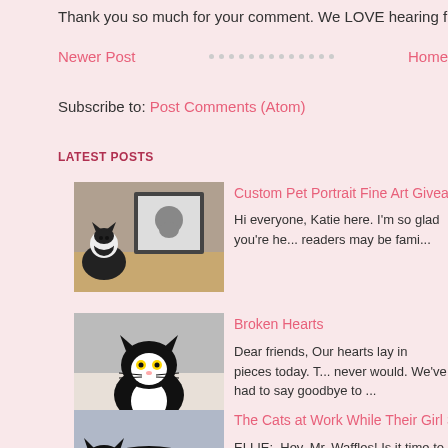Thank you so much for your comment. We LOVE hearing fro...
Newer Post · · · · · · · · · · · · · · Home
Subscribe to: Post Comments (Atom)
LATEST POSTS
[Figure (photo): Black and white cat sitting next to a framed portrait photo on a wooden surface]
Custom Pet Portrait Fine Art Giveaway
Hi everyone, Katie here. I'm so glad you're he... readers may be fami...
[Figure (photo): Black and white tuxedo cat sitting and looking at camera]
Broken Hearts
Dear friends, Our hearts lay in pieces today. T... never would. We've had to say goodbye to ...
[Figure (photo): Black and white cat lying down on a surface, grooming itself]
The Cats at Work While Their Girl Skis
ELLIE:  Hey, Mr. Waffles! Is it time to go back... Yeah, I'm a little busy, Ellie. T...